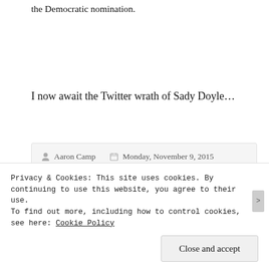the Democratic nomination.
I now await the Twitter wrath of Sady Doyle...
Aaron Camp  Monday, November 9, 2015
2016 / Aaron Camp / attack / BernBro / Bernie Sanders / Bernie's Army / bought off / corporate Democrats / corporatist / criticism / criticizing me / dismiss / false accusation /
Privacy & Cookies: This site uses cookies. By continuing to use this website, you agree to their use.
To find out more, including how to control cookies, see here: Cookie Policy
Close and accept